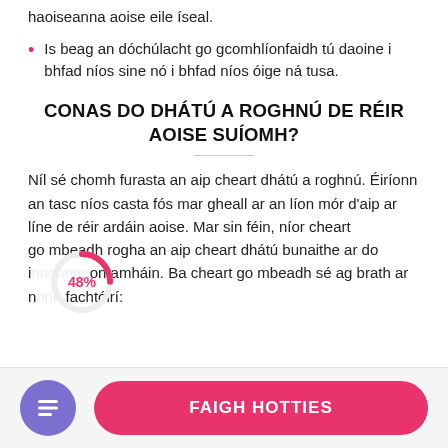haoiseanna aoise eile íseal.
Is beag an dóchúlacht go gcomhlíonfaidh tú daoine i bhfad níos sine nó i bhfad níos óige ná tusa.
CONAS DO DHÁTÚ A ROGHNÚ DE RÉIR AOISE SUÍOMH?
Níl sé chomh furasta an aip cheart dhátú a roghnú. Éiríonn an tasc níos casta fós mar gheall ar an líon mór d'aip ar líne de réir ardáin aoise. Mar sin féin, níor cheart go mbeadh rogha an aip cheart dhátú bunaithe ar do i... on amháin. Ba cheart go mbeadh sé ag brath ar n... fachtóirí:
[Figure (donut-chart): Partial donut/pie chart showing 48% label in pink/red text with a circular arc indicator overlaid on text]
FAIGH HOTTIES